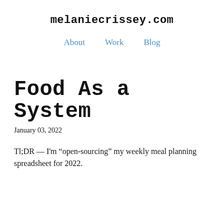melaniecrissey.com
About   Work   Blog
Food As a System
January 03, 2022
Tl;DR — I'm “open-sourcing” my weekly meal planning spreadsheet for 2022.